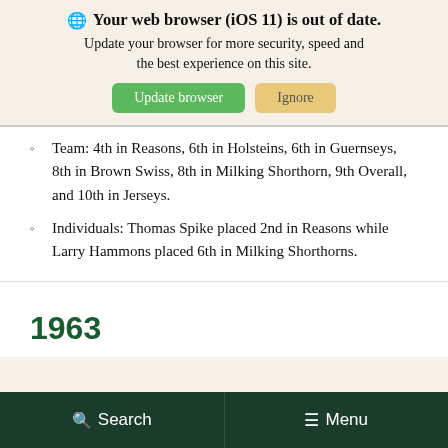[Figure (screenshot): Browser update notification banner with globe icon, bold text 'Your web browser (iOS 11) is out of date.', subtitle 'Update your browser for more security, speed and the best experience on this site.', and two buttons: green 'Update browser' and tan 'Ignore']
Team: 4th in Reasons, 6th in Holsteins, 6th in Guernseys, 8th in Brown Swiss, 8th in Milking Shorthorn, 9th Overall, and 10th in Jerseys.
Individuals: Thomas Spike placed 2nd in Reasons while Larry Hammons placed 6th in Milking Shorthorns.
1963
[Figure (photo): Partial photo visible at bottom, appears to be a grayscale/sepia image]
Search   Menu